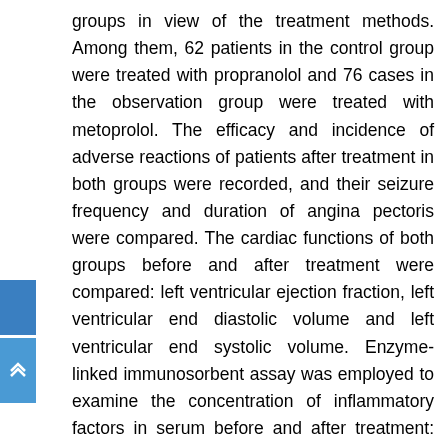groups in view of the treatment methods. Among them, 62 patients in the control group were treated with propranolol and 76 cases in the observation group were treated with metoprolol. The efficacy and incidence of adverse reactions of patients after treatment in both groups were recorded, and their seizure frequency and duration of angina pectoris were compared. The cardiac functions of both groups before and after treatment were compared: left ventricular ejection fraction, left ventricular end diastolic volume and left ventricular end systolic volume. Enzyme-linked immunosorbent assay was employed to examine the concentration of inflammatory factors in serum before and after treatment: serum high-sensitivity C-reactive protein